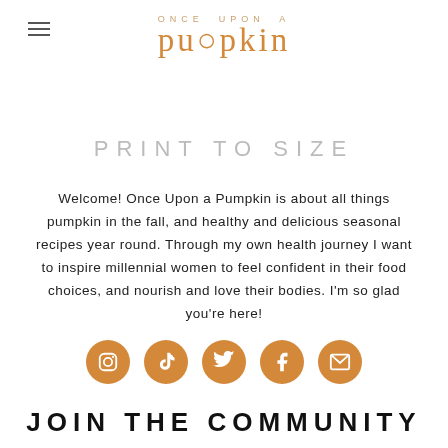[Figure (logo): Once Upon a Pumpkin blog logo with orange stylized text and hamburger menu icon]
PRINT TO SIZE
Welcome! Once Upon a Pumpkin is about all things pumpkin in the fall, and healthy and delicious seasonal recipes year round. Through my own health journey I want to inspire millennial women to feel confident in their food choices, and nourish and love their bodies. I'm so glad you're here!
[Figure (infographic): Row of five orange circular social media icons: Instagram, TikTok, Twitter, Facebook, Email]
JOIN THE COMMUNITY